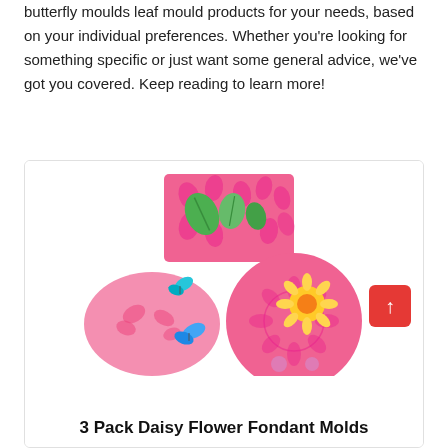butterfly moulds leaf mould products for your needs, based on your individual preferences. Whether you're looking for something specific or just want some general advice, we've got you covered. Keep reading to learn more!
[Figure (photo): Three pink silicone fondant molds: a rectangular leaf mold with green leaf impressions, a round butterfly mold with colorful butterflies, and a round daisy/flower mold with a yellow flower.]
3 Pack Daisy Flower Fondant Molds